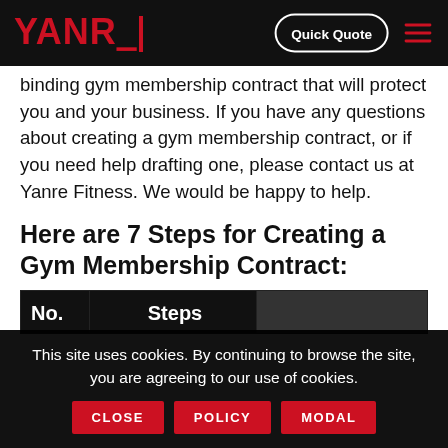YANRE | Quick Quote | [menu]
binding gym membership contract that will protect you and your business. If you have any questions about creating a gym membership contract, or if you need help drafting one, please contact us at Yanre Fitness. We would be happy to help.
Here are 7 Steps for Creating a Gym Membership Contract:
| No. | Steps |  |
| --- | --- | --- |
This site uses cookies. By continuing to browse the site, you are agreeing to our use of cookies.